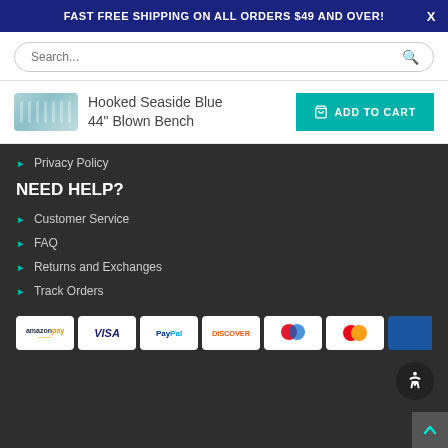FAST FREE SHIPPING ON ALL ORDERS $49 AND OVER!
[Figure (screenshot): Search bar with rounded border and magnifying glass icon]
[Figure (photo): Thumbnail of Hooked Seaside Blue 44 inch Blown Bench product]
Hooked Seaside Blue 44" Blown Bench
[Figure (other): ADD TO CART button in teal/green]
Privacy Policy
NEED HELP?
Customer Service
FAQ
Returns and Exchanges
Track Orders
[Figure (other): Payment method logos: Amazon Pay, Visa, PayPal, Discover, Maestro, Mastercard, and one more partially visible]